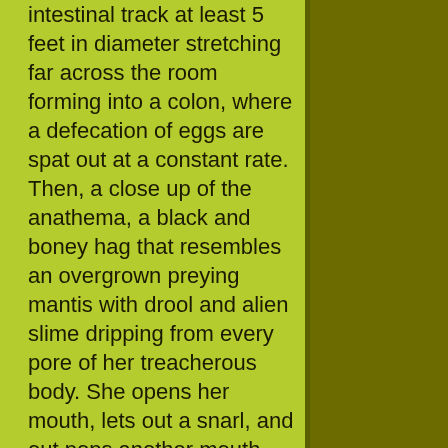intestinal track at least 5 feet in diameter stretching far across the room forming into a colon, where a defecation of eggs are spat out at a constant rate. Then, a close up of the anathema, a black and boney hag that resembles an overgrown preying mantis with drool and alien slime dripping from every pore of her treacherous body. She opens her mouth, lets out a snarl, and out pops another mouth, exposing the vicious teeth of the grotesque alien queen. James Cameron is one sick bastard.
Ripley shakes her head and mashes her lips together in anger and annoyance, for she's just sick and tired of all these aliens! All the space traveling, slimy cocoons, flying alien babies, dying marine soldiers, and alien blasting cultivates into a facial expression that screams, "F this!" She cocks her weapon and blasts away at the disgusting pile of vermin that lies before her; the eggs,